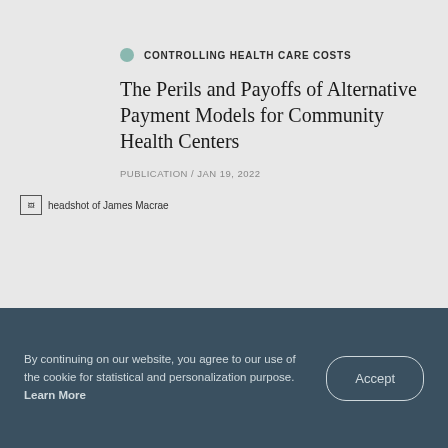CONTROLLING HEALTH CARE COSTS
The Perils and Payoffs of Alternative Payment Models for Community Health Centers
PUBLICATION / JAN 19, 2022
[Figure (photo): Headshot of James Macrae]
By continuing on our website, you agree to our use of the cookie for statistical and personalization purpose. Learn More